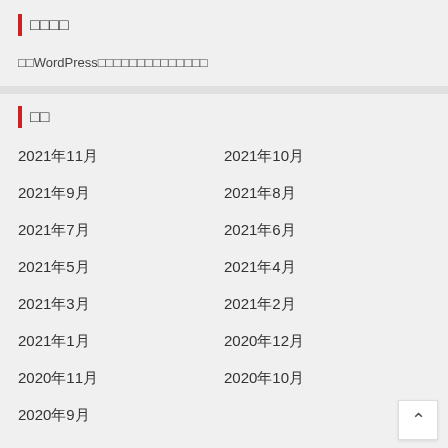□□□□
□□WordPress□□□□□□□□□□□□□□
□□
2021年11月
2021年10月
2021年9月
2021年8月
2021年7月
2021年6月
2021年5月
2021年4月
2021年3月
2021年2月
2021年1月
2020年12月
2020年11月
2020年10月
2020年9月